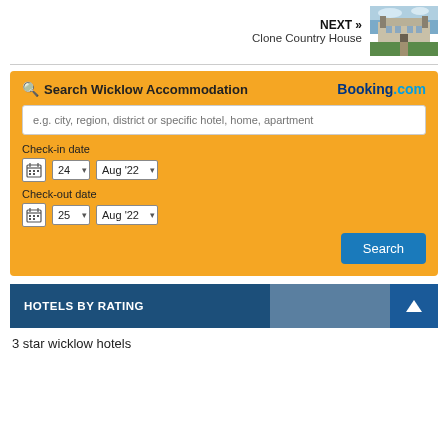NEXT » Clone Country House
[Figure (photo): Thumbnail photo of Clone Country House exterior with garden]
Search Wicklow Accommodation
[Figure (screenshot): Booking.com search widget with check-in date 24 Aug '22 and check-out date 25 Aug '22]
HOTELS BY RATING
3 star wicklow hotels